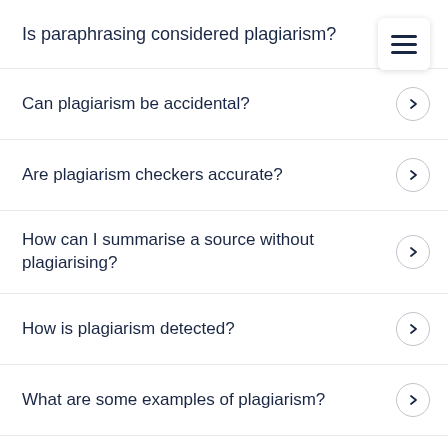Is paraphrasing considered plagiarism?
Can plagiarism be accidental?
Are plagiarism checkers accurate?
How can I summarise a source without plagiarising?
How is plagiarism detected?
What are some examples of plagiarism?
What is global plagiarism?
What is verbatim plagiarism?
What is...